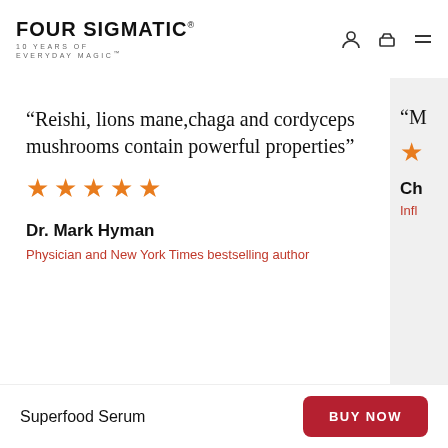[Figure (logo): Four Sigmatic logo with text '10 YEARS OF EVERYDAY MAGIC']
“Reishi, lions mane,chaga and cordyceps mushrooms contain powerful properties”
★★★★★
Dr. Mark Hyman
Physician and New York Times bestselling author
"N
Ch
Infl
Superfood Serum
BUY NOW